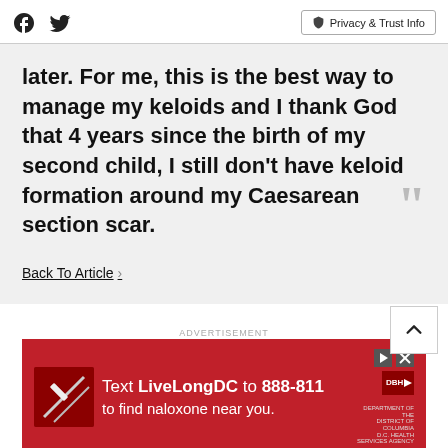Facebook, Twitter, Privacy & Trust Info
later. For me, this is the best way to manage my keloids and I thank God that 4 years since the birth of my second child, I still don't have keloid formation around my Caesarean section scar.
Back To Article >
[Figure (screenshot): Advertisement banner: Text LiveLongDC to 888-811 to find naloxone near you. Red background with DBH logo.]